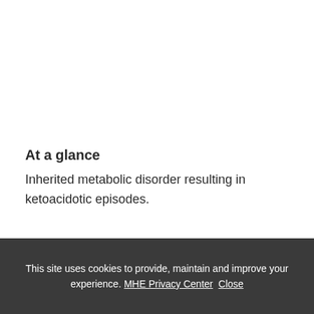At a glance
Inherited metabolic disorder resulting in ketoacidotic episodes.
Synonym
Succinyl-CoA:3-Oxoacid CoA-Transferase (SCOT)
This site uses cookies to provide, maintain and improve your experience. MHE Privacy Center Close